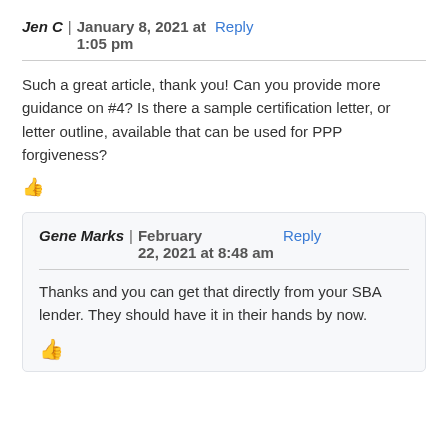Jen C | January 8, 2021 at 1:05 pm   Reply
Such a great article, thank you! Can you provide more guidance on #4? Is there a sample certification letter, or letter outline, available that can be used for PPP forgiveness?
Gene Marks | February 22, 2021 at 8:48 am   Reply
Thanks and you can get that directly from your SBA lender. They should have it in their hands by now.